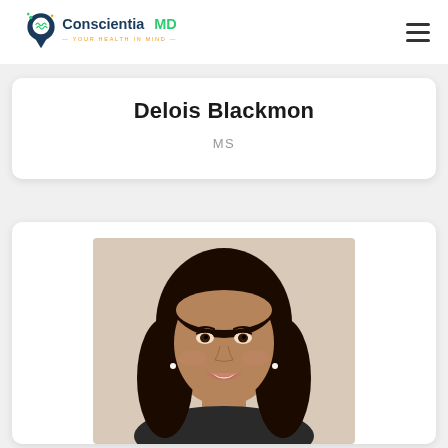Conscientia MD — YOUR HEALTH IN MIND
Delois Blackmon
MS
[Figure (photo): Professional headshot of Delois Blackmon, a young woman with long dark hair, smiling, against a light beige background.]